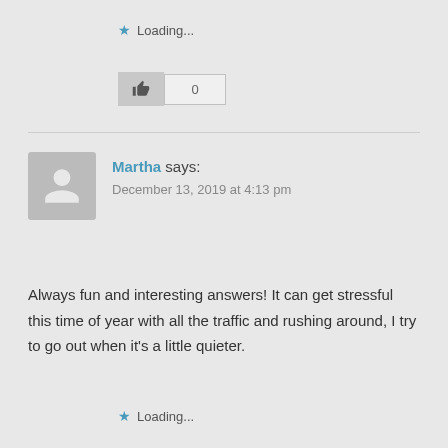★ Loading...
[Figure (other): Thumbs up like button with count 0]
Martha says:
December 13, 2019 at 4:13 pm
Always fun and interesting answers! It can get stressful this time of year with all the traffic and rushing around, I try to go out when it's a little quieter.
★ Loading...